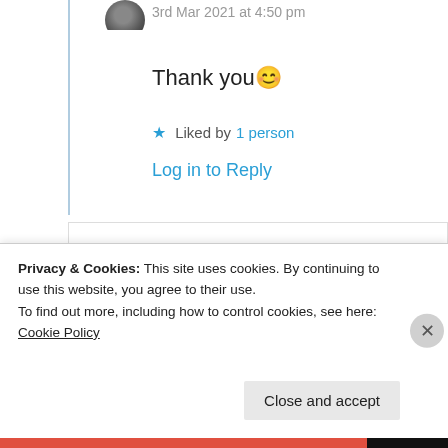3rd Mar 2021 at 4:50 pm
Thank you 🙂
★ Liked by 1 person
Log in to Reply
Dakshali Gupta
10th Jul 2021 at 7:45 am
Privacy & Cookies: This site uses cookies. By continuing to use this website, you agree to their use. To find out more, including how to control cookies, see here: Cookie Policy
Close and accept